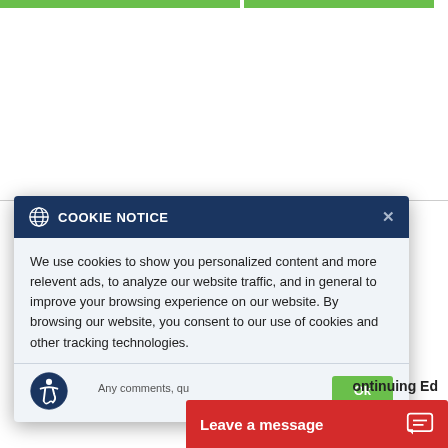[Figure (screenshot): Two green navigation buttons at the top of a webpage]
[Figure (screenshot): Cookie notice overlay popup with dark blue header showing globe icon and 'COOKIE NOTICE' text with close button X. Body text reads: 'We use cookies to show you personalized content and more relevent ads, to analyze our website traffic, and in general to improve your browsing experience on our website. By browsing our website, you consent to our use of cookies and other tracking technologies.' Footer has accessibility icon and OK button.]
ontinuing Ed
Any comments, qu
Leave a message